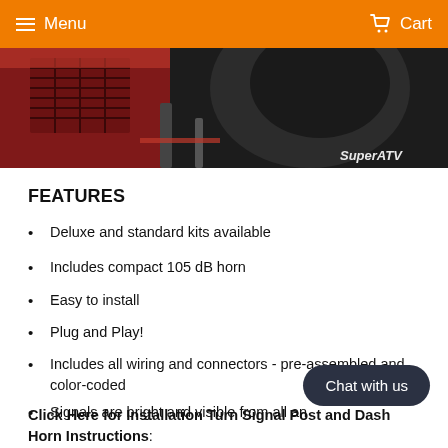Menu   Cart
[Figure (photo): Close-up photo of an ATV dashboard/interior area with red body panels and dark steering components. SuperATV logo visible in bottom right corner.]
FEATURES
Deluxe and standard kits available
Includes compact 105 dB horn
Easy to install
Plug and Play!
Includes all wiring and connectors - pre-assembled and color-coded
Signals are bright and visible from all an
Click Here for Installation Turn Signal Post and Dash Horn Instructions: